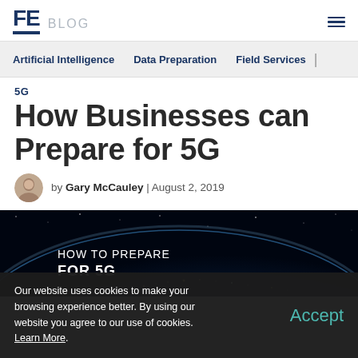FE BLOG
Artificial Intelligence   Data Preparation   Field Services
5G
How Businesses can Prepare for 5G
by Gary McCauley | August 2, 2019
[Figure (photo): Dark banner image showing Earth from space with text overlay: HOW TO PREPARE FOR 5G]
Our website uses cookies to make your browsing experience better. By using our website you agree to our use of cookies. Learn More.